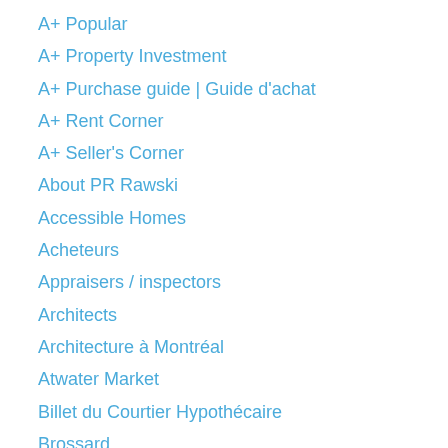A+ Popular
A+ Property Investment
A+ Purchase guide | Guide d'achat
A+ Rent Corner
A+ Seller's Corner
About PR Rawski
Accessible Homes
Acheteurs
Appraisers / inspectors
Architects
Architecture à Montréal
Atwater Market
Billet du Courtier Hypothécaire
Brossard
Commercial Properties
Commercial: For Sale
Credit Rating
Debts and financing
Development & Construction
Downtown MTL